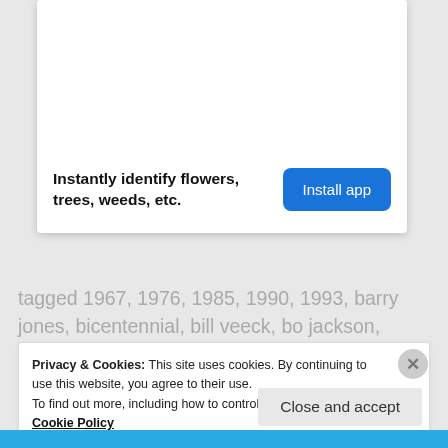[Figure (other): White ad card area with blank image space at top]
Instantly identify flowers, trees, weeds, etc.
Install app
tagged 1967, 1976, 1985, 1990, 1993, barry jones, bicentennial, bill veeck, bo jackson, bobby thigpen, chris knapp, chuck
Privacy & Cookies: This site uses cookies. By continuing to use this website, you agree to their use.
To find out more, including how to control cookies, see here: Cookie Policy
Close and accept